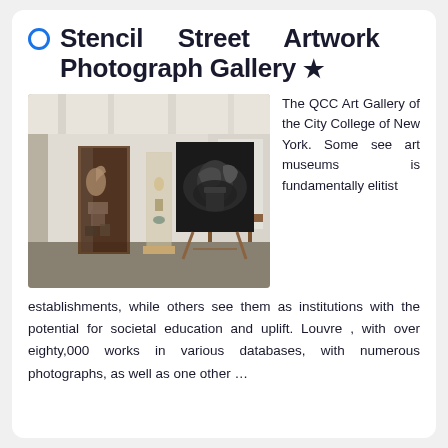Stencil Street Artwork Photograph Gallery ★
[Figure (photo): Interior of an art gallery showing display cases with sculptures, an easel with a large black and white photograph, and gallery lighting overhead.]
The QCC Art Gallery of the City College of New York. Some see art museums is fundamentally elitist establishments, while others see them as institutions with the potential for societal education and uplift. Louvre , with over eighty,000 works in various databases, with numerous photographs, as well as one other …